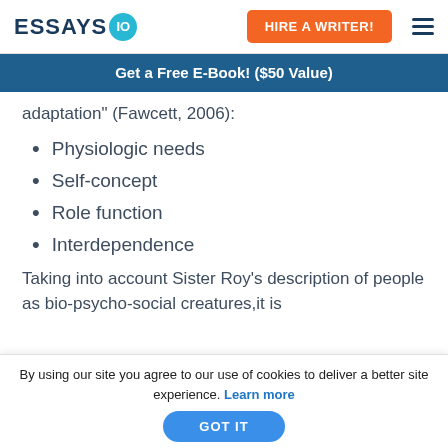ESSAYS IO | HIRE A WRITER!
Get a Free E-Book! ($50 Value)
adaptation" (Fawcett, 2006):
Physiologic needs
Self-concept
Role function
Interdependence
Taking into account Sister Roy's description of people as bio-psycho-social creatures,it is
By using our site you agree to our use of cookies to deliver a better site experience. Learn more GOT IT